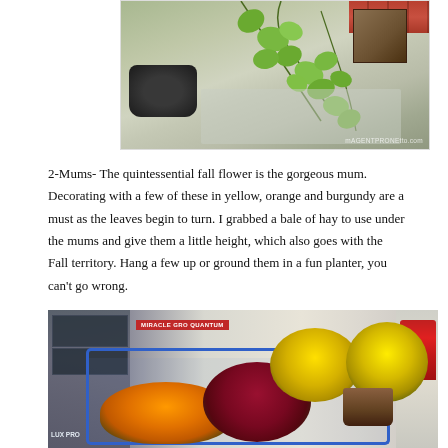[Figure (photo): Overhead/ground-level garden photo showing green heart-shaped vine leaves trailing over gravel or stone pavement, a dark (black) flower pot, a wooden planter box, and brick edging in the background. Watermark reads 'mAGENTPRONEtto.com' in lower right.]
2-Mums- The quintessential fall flower is the gorgeous mum. Decorating with a few of these in yellow, orange and burgundy are a must as the leaves begin to turn. I grabbed a bale of hay to use under the mums and give them a little height, which also goes with the Fall territory. Hang a few up or ground them in a fun planter, you can't go wrong.
[Figure (photo): Shopping cart filled with chrysanthemum mums in multiple colors — orange/marigold in front, a large burgundy/red mum in center, and bright yellow mums behind — photographed inside a big-box home improvement or garden store. Store shelving with products visible in background including a red Miracle-Gro sign. LUX PRO label visible at lower left.]